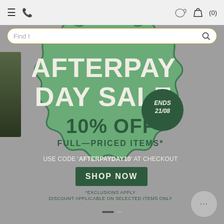[Figure (screenshot): Website navigation bar with hamburger menu, phone icon on left; horse icon, shopping bag with (0) on right]
[Figure (infographic): Afterpay Day Sale promotional badge — wavy-edged green circle badge. Large white text: AFTERPAY DAY SALE. Dark green circle badge top-right: ENDS 21/08. Dark green text: 10% OFF FULL-PRICED ITEMS*. White text: USE CODE 'AFTERPAYDAY10' AT CHECKOUT. Dark green button: SHOP NOW. Small text: *EXCLUSIONS APPLY / DISCOUNT APPLICABLE ON SELECTED ITEMS ONLY]
*EXCLUSIONS APPLY
DISCOUNT APPLICABLE ON SELECTED ITEMS ONLY